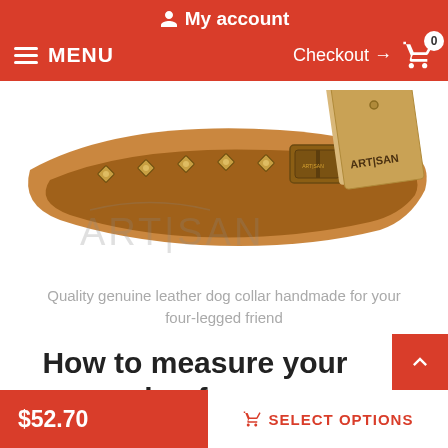My account
MENU  Checkout → 0
[Figure (photo): Close-up photo of an Artisan branded genuine leather dog collar with decorative metal studs and an Artisan branded kraft paper hang tag]
Quality genuine leather dog collar handmade for your four-legged friend
How to measure your dog for good fit Collar:
$52.70  SELECT OPTIONS